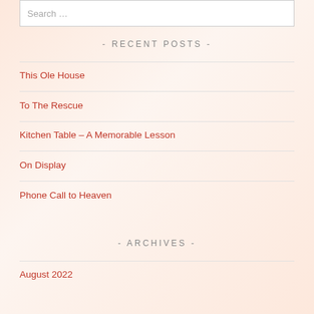Search …
- RECENT POSTS -
This Ole House
To The Rescue
Kitchen Table – A Memorable Lesson
On Display
Phone Call to Heaven
- ARCHIVES -
August 2022